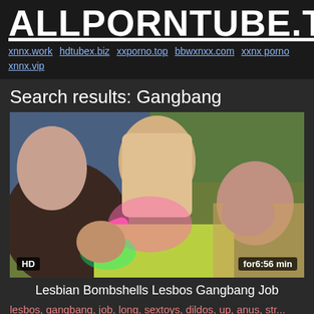ALLPORNTUBE.TOP
xnnx.work hdtubex.biz xxporno.top bbwxnxx.com xxnx porno xnnx.vip
Search results: Gangbang
[Figure (photo): Video thumbnail showing women in colorful outfits with HD badge and for6:56 min duration overlay]
Lesbian Bombshells Lesbos Gangbang Job
lesbos, gangbang, job, long, sextoys, dildos, up, anus, str...